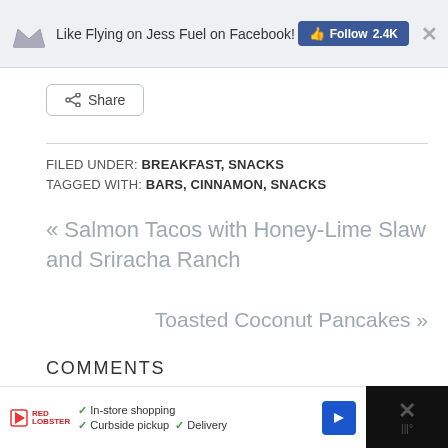Like Flying on Jess Fuel on Facebook! Follow 2.4K
[Figure (screenshot): Share button with share icon]
FILED UNDER: BREAKFAST, SNACKS
TAGGED WITH: BARS, CINNAMON, SNACKS
« Salmon Tacos with Honey-Lime Slaw and Sriracha Ranch
Toasted Coconut Pancakes »
COMMENTS
Lauren Everson says
April 27, 2014 at 9:06 pm
In-store shopping  Curbside pickup  Delivery